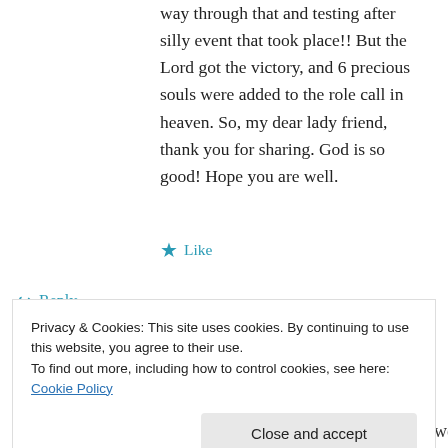way through that and testing after silly event that took place!! But the Lord got the victory, and 6 precious souls were added to the role call in heaven. So, my dear lady friend, thank you for sharing. God is so good! Hope you are well.
★ Like
↪ Reply
[Figure (other): Advertisement banner with text 'in less than a week' and 'W' logo on beige background, with 'REPORT THIS AD' label]
Privacy & Cookies: This site uses cookies. By continuing to use this website, you agree to their use.
To find out more, including how to control cookies, see here: Cookie Policy
Close and accept
Thought of you last night as I sang,  Sweet Little